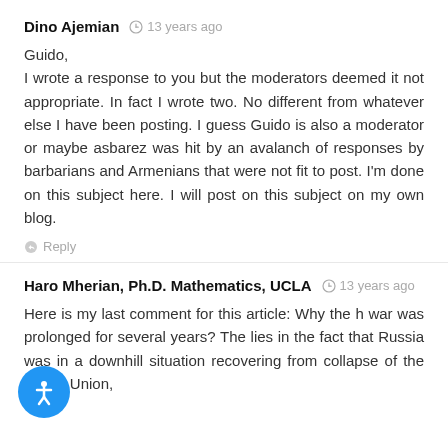Dino Ajemian  13 years ago
Guido,
I wrote a response to you but the moderators deemed it not appropriate. In fact I wrote two. No different from whatever else I have been posting. I guess Guido is also a moderator or maybe asbarez was hit by an avalanch of responses by barbarians and Armenians that were not fit to post. I'm done on this subject here. I will post on this subject on my own blog.
Reply
Haro Mherian, Ph.D. Mathematics, UCLA  13 years ago
Here is my last comment for this article: Why the h war was prolonged for several years? The lies in the fact that Russia was in a downhill situation recovering from collapse of the Soviet Union,